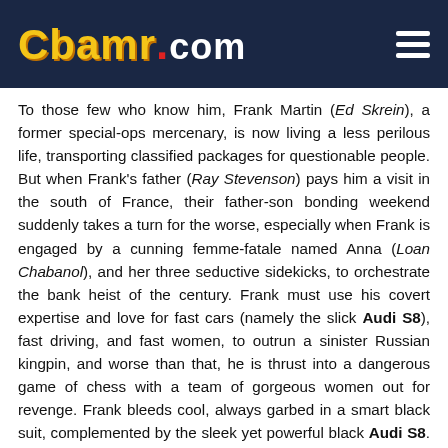CBAMR.COM
To those few who know him, Frank Martin (Ed Skrein), a former special-ops mercenary, is now living a less perilous life, transporting classified packages for questionable people. But when Frank's father (Ray Stevenson) pays him a visit in the south of France, their father-son bonding weekend suddenly takes a turn for the worse, especially when Frank is engaged by a cunning femme-fatale named Anna (Loan Chabanol), and her three seductive sidekicks, to orchestrate the bank heist of the century. Frank must use his covert expertise and love for fast cars (namely the slick Audi S8), fast driving, and fast women, to outrun a sinister Russian kingpin, and worse than that, he is thrust into a dangerous game of chess with a team of gorgeous women out for revenge. Frank bleeds cool, always garbed in a smart black suit, complemented by the sleek yet powerful black Audi S8. The S8 features in some